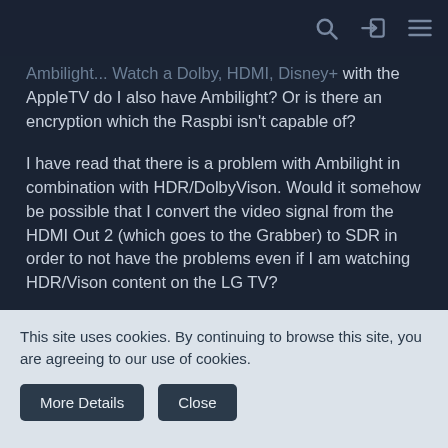Ambilight... Watch a Dolby, HDMI, Disney+ with the AppleTV do I also have Ambilight? Or is there an encryption which the Raspbi isn't capable of?
I have read that there is a problem with Ambilight in combination with HDR/DolbyVison. Would it somehow be possible that I convert the video signal from the HDMI Out 2 (which goes to the Grabber) to SDR in order to not have the problems even if I am watching HDR/Vison content on the LG TV?
Thank you in advance!
Best regards,
This site uses cookies. By continuing to browse this site, you are agreeing to our use of cookies.